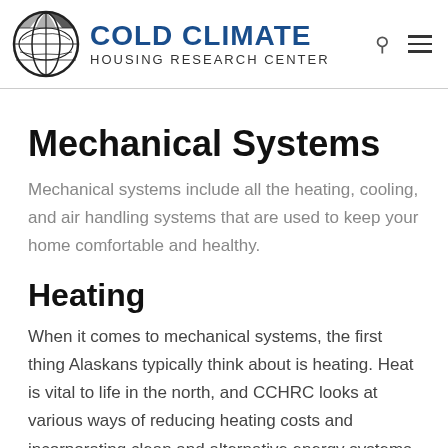COLD CLIMATE HOUSING RESEARCH CENTER
Mechanical Systems
Mechanical systems include all the heating, cooling, and air handling systems that are used to keep your home comfortable and healthy.
Heating
When it comes to mechanical systems, the first thing Alaskans typically think about is heating. Heat is vital to life in the north, and CCHRC looks at various ways of reducing heating costs and incorporating clean and alternative energy systems